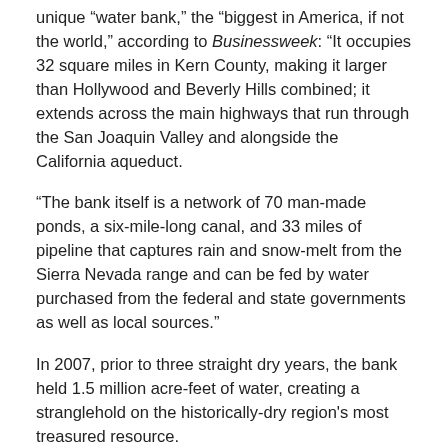unique “water bank,” the “biggest in America, if not the world,” according to Businessweek: “It occupies 32 square miles in Kern County, making it larger than Hollywood and Beverly Hills combined; it extends across the main highways that run through the San Joaquin Valley and alongside the California aqueduct.
“The bank itself is a network of 70 man-made ponds, a six-mile-long canal, and 33 miles of pipeline that captures rain and snow-melt from the Sierra Nevada range and can be fed by water purchased from the federal and state governments as well as local sources.”
In 2007, prior to three straight dry years, the bank held 1.5 million acre-feet of water, creating a stranglehold on the historically-dry region’s most treasured resource.
A wave of lawsuits challenging the legality of the water bank and asserting huge environmental damages have been launched by two water agencies and three environmental groups.